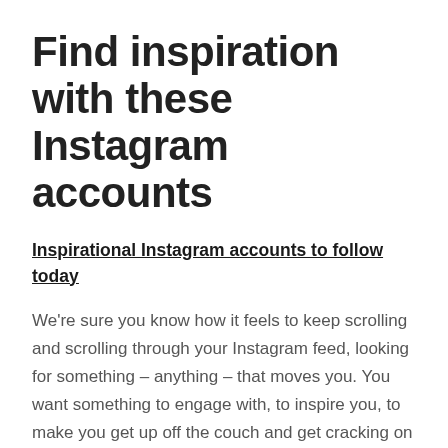Find inspiration with these Instagram accounts
Inspirational Instagram accounts to follow today
We’re sure you know how it feels to keep scrolling and scrolling through your Instagram feed, looking for something – anything – that moves you. You want something to engage with, to inspire you, to make you get up off the couch and get cracking on your laptop – especially during these overwhelming and uncertain times.